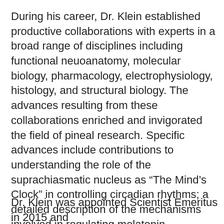During his career, Dr. Klein established productive collaborations with experts in a broad range of disciplines including functional neuoanatomy, molecular biology, pharmacology, electrophysiology, histology, and structural biology. The advances resulting from these collaborations enriched and invigorated the field of pineal research. Specific advances include contributions to understanding the role of the suprachiasmatic nucleus as “The Mind’s Clock” in controlling circadian rhythms; a detailed description of the mechanisms involved in regulating melatonin production focused on arylalkylamine N-acetyltransferase; the role of 14-3-3 proteins as functional regulators, studies on daily changes in the pineal transcriptome; and a theory explaining the evolution of the pineal gland and retina from a common photodetector.
Dr. Klein was appointed Scientist Emeritus in 2015 and